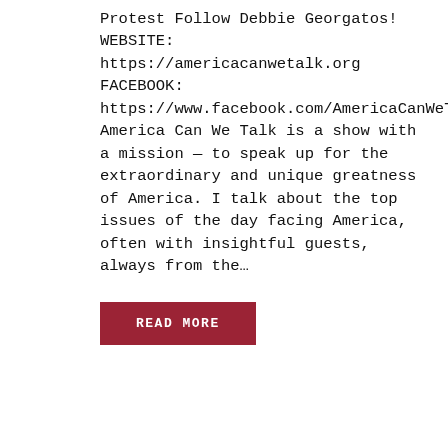Protest Follow Debbie Georgatos! WEBSITE: https://americacanwetalk.org FACEBOOK: https://www.facebook.com/AmericaCanWeTalk America Can We Talk is a show with a mission — to speak up for the extraordinary and unique greatness of America. I talk about the top issues of the day facing America, often with insightful guests, always from the…
READ MORE